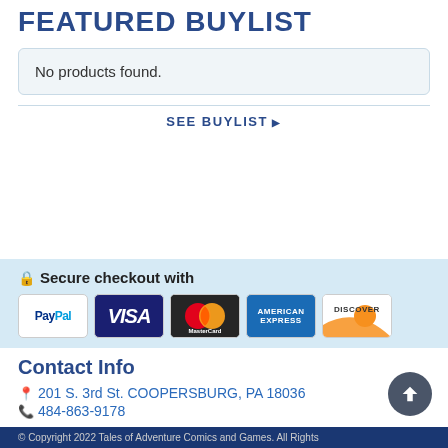FEATURED BUYLIST
No products found.
SEE BUYLIST ▶
🔒 Secure checkout with
[Figure (illustration): Payment method logos: PayPal, Visa, MasterCard, American Express, Discover]
Contact Info
📍 201 S. 3rd St. COOPERSBURG, PA 18036
📞 484-863-9178
© Copyright 2022 Tales of Adventure Comics and Games. All Rights